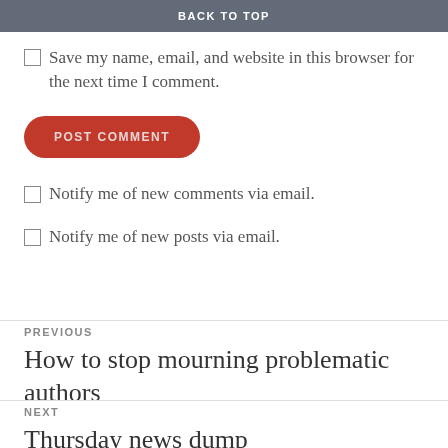BACK TO TOP
Save my name, email, and website in this browser for the next time I comment.
POST COMMENT
Notify me of new comments via email.
Notify me of new posts via email.
PREVIOUS
How to stop mourning problematic authors
NEXT
Thursday news dump